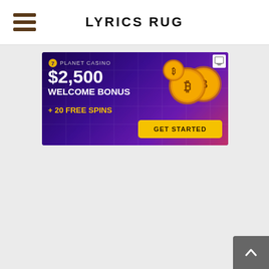LYRICS RUG
[Figure (infographic): Planet 7 Casino advertisement banner with purple/dark background, bitcoin coins graphic, text reading '$2,500 WELCOME BONUS + 20 FREE SPINS' and a yellow 'GET STARTED' button]